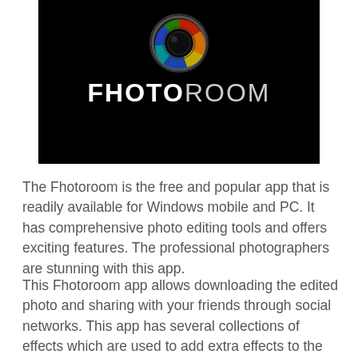[Figure (logo): Fhotoroom app logo — black background with a colorful camera lens graphic and the text FHOTOROOM in bold white/light gray letters]
The Fhotoroom is the free and popular app that is readily available for Windows mobile and PC. It has comprehensive photo editing tools and offers exciting features. The professional photographers are stunning with this app.
This Fhotoroom app allows downloading the edited photo and sharing with your friends through social networks. This app has several collections of effects which are used to add extra effects to the picture